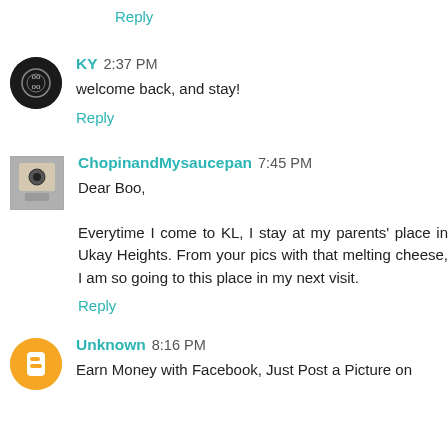Reply
[Figure (illustration): Dark circular avatar with decorative text/logo pattern for user KY]
KY 2:37 PM
welcome back, and stay!
Reply
[Figure (photo): Small square thumbnail image for user ChopinandMysaucepan]
ChopinandMysaucepan 7:45 PM
Dear Boo,

Everytime I come to KL, I stay at my parents' place in Ukay Heights. From your pics with that melting cheese, I am so going to this place in my next visit.
Reply
[Figure (illustration): Orange circular avatar with a person/blogger icon for user Unknown]
Unknown 8:16 PM
Earn Money with Facebook, Just Post a Picture on